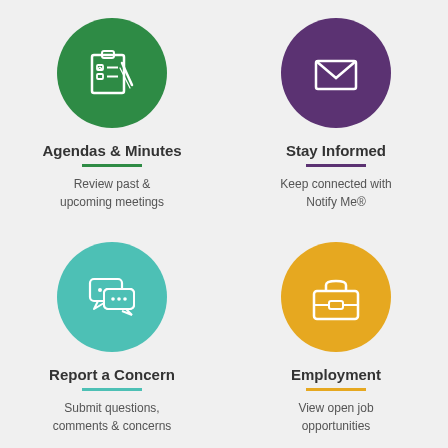[Figure (infographic): Green circle with checklist/clipboard and pen icon]
Agendas & Minutes
Review past & upcoming meetings
[Figure (infographic): Purple circle with envelope/mail icon]
Stay Informed
Keep connected with Notify Me®
[Figure (infographic): Teal circle with speech bubbles/chat icon]
Report a Concern
Submit questions, comments & concerns
[Figure (infographic): Yellow/gold circle with briefcase icon]
Employment
View open job opportunities